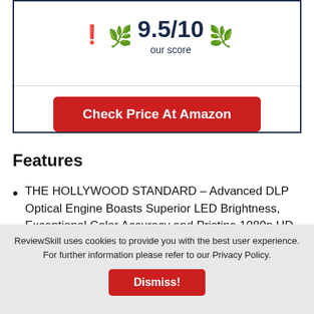[Figure (infographic): Score badge showing 9.5/10 our score with laurel decoration inside a bordered box, and a red 'Check Price At Amazon' button below a divider line]
Features
THE HOLLYWOOD STANDARD – Advanced DLP Optical Engine Boasts Superior LED Brightness, Exceptional Color Accuracy and Pristine 1080p HD Picture Quality (Best Performance when used in Dark to Dim Lit Room)
ReviewSkill uses cookies to provide you with the best user experience. For further information please refer to our Privacy Policy.